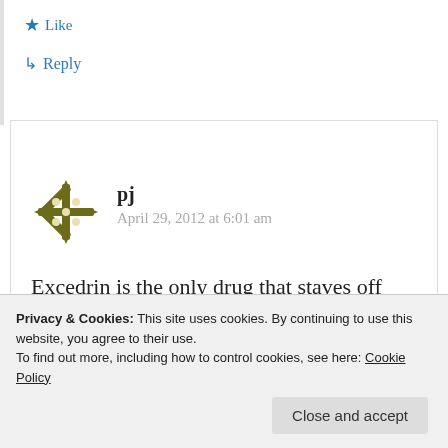★ Like
↳ Reply
pj
April 29, 2012 at 6:01 am
Excedrin is the only drug that staves off migraines for me. 3 per day in the morning for 40 yrs. Its excedrin or a
Anyway I get a little paniced because I
Privacy & Cookies: This site uses cookies. By continuing to use this website, you agree to their use.
To find out more, including how to control cookies, see here: Cookie Policy
Close and accept